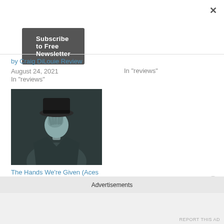[Figure (other): Close/X button in top right corner]
[Figure (other): Subscribe to Free Newsletter dark button]
by Craig DiLouie Review
August 24, 2021
In "reviews"
In "reviews"
[Figure (photo): Black and white photo of a person wearing a hat, their face partially obscured by their hand]
The Hands We're Given (Aces High, Jokers Wild #1) by O.E. Tearmann Review
March 28, 2021
Advertisements
REPORT THIS AD